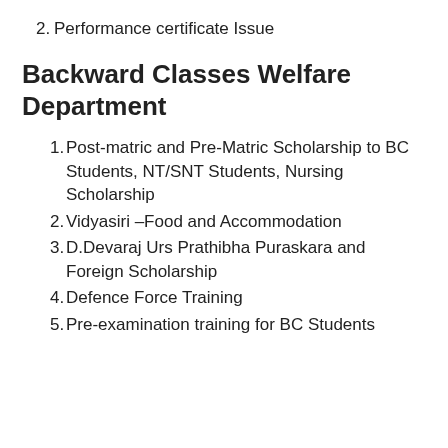2. Performance certificate Issue
Backward Classes Welfare Department
1. Post-matric and Pre-Matric Scholarship to BC Students, NT/SNT Students, Nursing Scholarship
2. Vidyasiri –Food and Accommodation
3. D.Devaraj Urs Prathibha Puraskara and Foreign Scholarship
4. Defence Force Training
5. Pre-examination training for BC Students